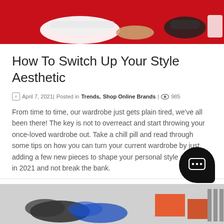[Figure (photo): Hero image of shoes and accessories on a red background]
How To Switch Up Your Style Aesthetic
April 7, 2021| Posted in Trends, Shop Online Brands| 985
From time to time, our wardrobe just gets plain tired, we've all been there! The key is not to overreact and start throwing your once-loved wardrobe out. Take a chill pill and read through some tips on how you can turn your current wardrobe by just adding a few new pieces to shape your personal style aesthetic in 2021 and not break the bank.
Read More
[Figure (photo): Bottom partial image showing shoes and orange blocks on grey background]